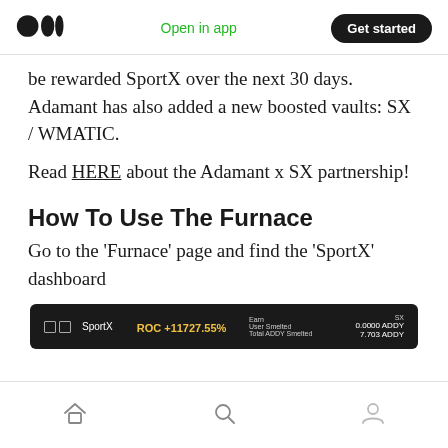Medium logo | Open in app | Get started
be rewarded SportX over the next 30 days. Adamant has also added a new boosted vaults: SX / WMATIC.
Read HERE about the Adamant x SX partnership!
How To Use The Furnace
Go to the 'Furnace' page and find the 'SportX' dashboard
[Figure (screenshot): Dark dashboard screenshot showing SportX entry with ROC +11727.55%, Earn labels, User Smelted, Total ADDY Smelted, SX 0.0000 ADDY, 7.703 ADDY]
Home | Search | Profile icons